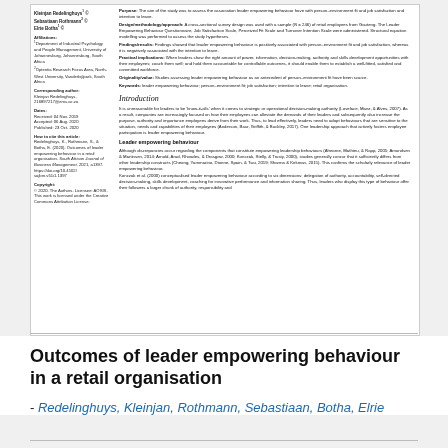[Figure (screenshot): Scanned/rendered page of an academic journal article showing left sidebar with author names, affiliations, dates, copyright, and right main column with abstract sections (Purpose, Design/methodology/approach, Findings/results, Practical implications, Originality/value, Keywords) and beginning of Introduction and Leader empowering behaviour sections.]
Outcomes of leader empowering behaviour in a retail organisation
- Redelinghuys, Kleinjan, Rothmann, Sebastiaan, Botha, Elrie